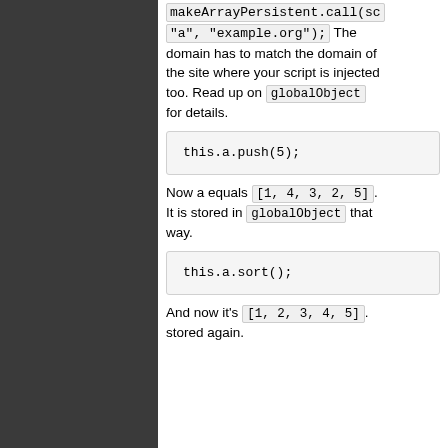makeArrayPersistent.call(sc "a", "example.org"); . The domain has to match the domain of the site where your script is injected too. Read up on globalObject for details.
Now a equals [1, 4, 3, 2, 5]. It is stored in globalObject that way.
And now it's [1, 2, 3, 4, 5]. stored again.